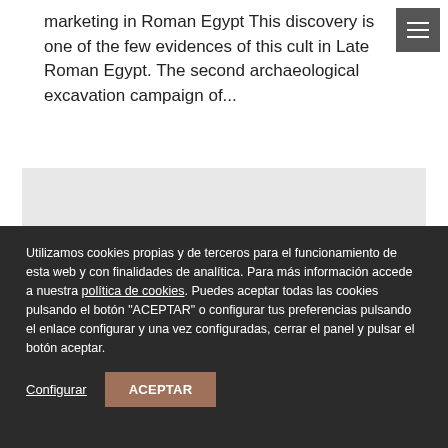marketing in Roman Egypt This discovery is one of the few evidences of this cult in Late Roman Egypt. The second archaeological excavation campaign of...
[Figure (other): Gray placeholder box representing an image or content area]
Utilizamos cookies propias y de terceros para el funcionamiento de esta web y con finalidades de analítica. Para más información accede a nuestra política de cookies. Puedes aceptar todas las cookies pulsando el botón "ACEPTAR" o configurar tus preferencias pulsando el enlace configurar y una vez configuradas, cerrar el panel y pulsar el botón aceptar.